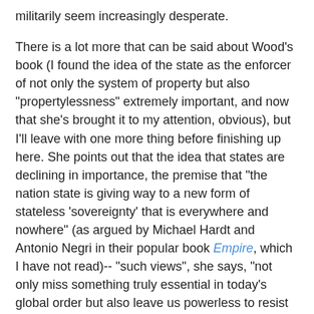militarily seem increasingly desperate.
There is a lot more that can be said about Wood's book (I found the idea of the state as the enforcer of not only the system of property but also "propertylessness" extremely important, and now that she's brought it to my attention, obvious), but I'll leave with one more thing before finishing up here. She points out that the idea that states are declining in importance, the premise that "the nation state is giving way to a new form of stateless 'sovereignty' that is everywhere and nowhere" (as argued by Michael Hardt and Antonio Negri in their popular book Empire, which I have not read)-- "such views", she says, "not only miss something truly essential in today's global order but also leave us powerless to resist the empire of capital." Recognizing the remaining importance of states means that there can be--and are--centers of power, potential loci of resistance. Many of us feel powerless enough as it is, but without political entities (in this case states) to resist against, without a place to act politically, that sense of powerlessness can only increase.
I like what I've heard about Naomi Klein's The Shock